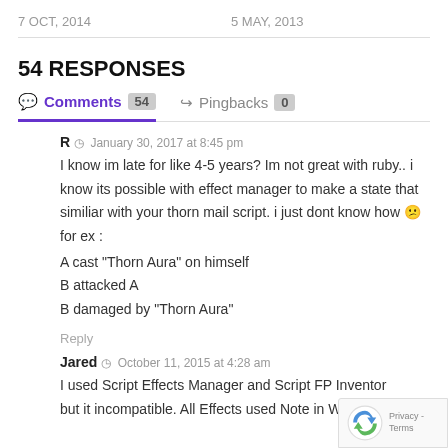7 OCT, 2014    5 MAY, 2013
54 RESPONSES
Comments 54    Pingbacks 0
R  January 30, 2017 at 8:45 pm
I know im late for like 4-5 years? Im not great with ruby.. i know its possible with effect manager to make a state that similiar with your thorn mail script. i just dont know how 😕 for ex :
A cast “Thorn Aura” on himself
B attacked A
B damaged by “Thorn Aura”
Reply
Jared  October 11, 2015 at 4:28 am
I used Script Effects Manager and Script FP Inventory but it incompatible. All Effects used Note in Weapon and